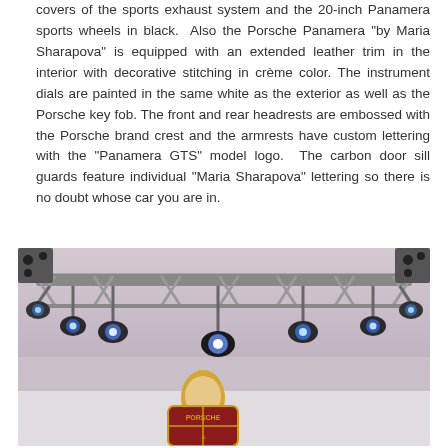covers of the sports exhaust system and the 20-inch Panamera sports wheels in black. Also the Porsche Panamera "by Maria Sharapova" is equipped with an extended leather trim in the interior with decorative stitching in crème color. The instrument dials are painted in the same white as the exterior as well as the Porsche key fob. The front and rear headrests are embossed with the Porsche brand crest and the armrests have custom lettering with the "Panamera GTS" model logo. The carbon door sill guards feature individual "Maria Sharapova" lettering so there is no doubt whose car you are in.
[Figure (photo): Indoor event photo showing a woman with blonde hair standing under a stage lighting rig with multiple spotlights mounted on a truss, with a Porsche crest/logo visible in the foreground.]